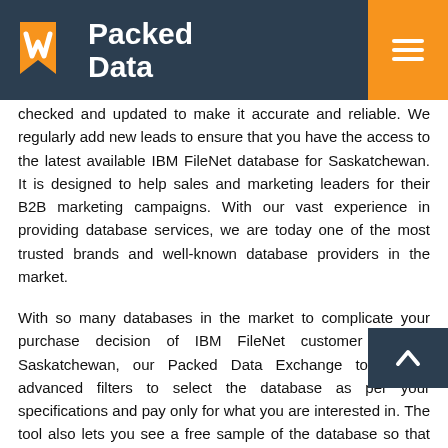Packed Data
checked and updated to make it accurate and reliable. We regularly add new leads to ensure that you have the access to the latest available IBM FileNet database for Saskatchewan. It is designed to help sales and marketing leaders for their B2B marketing campaigns. With our vast experience in providing database services, we are today one of the most trusted brands and well-known database providers in the market.
With so many databases in the market to complicate your purchase decision of IBM FileNet customer list for Saskatchewan, our Packed Data Exchange tool offers advanced filters to select the database as per your specifications and pay only for what you are interested in. The tool also lets you see a free sample of the database so that you can take informed decisions before the purchase.
Our Packed Data Exchange tool is dedicated to helping marketers connect with IBM FileNet customer database in